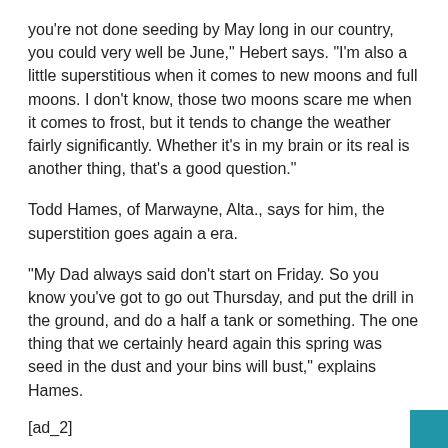you’re not done seeding by May long in our country, you could very well be June,” Hebert says. “I’m also a little superstitious when it comes to new moons and full moons. I don’t know, those two moons scare me when it comes to frost, but it tends to change the weather fairly significantly. Whether it’s in my brain or its real is another thing, that’s a good question.”
Todd Hames, of Marwayne, Alta., says for him, the superstition goes again a era.
“My Dad always said don’t start on Friday. So you know you’ve got to go out Thursday, and put the drill in the ground, and do a half a tank or something. The one thing that we certainly heard again this spring was seed in the dust and your bins will bust,” explains Hames.
[ad_2]